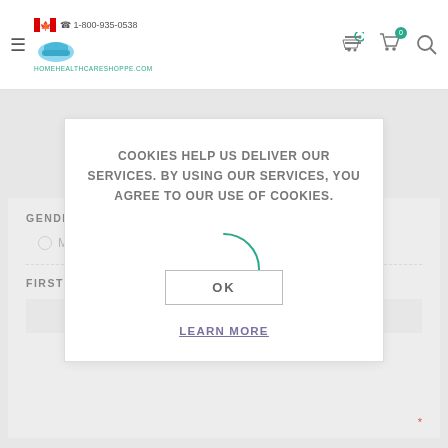1-800-935-0538 | HOMEHEALTHCARESHOPPE.COM
[Figure (screenshot): Cookie consent modal overlay on a home healthcare shopping website. Modal reads: COOKIES HELP US DELIVER OUR SERVICES. BY USING OUR SERVICES, YOU AGREE TO OUR USE OF COOKIES. With an OK button and LEARN MORE link.]
COOKIES HELP US DELIVER OUR SERVICES. BY USING OUR SERVICES, YOU AGREE TO OUR USE OF COOKIES.
OK
LEARN MORE
GENDER:
Male
Female
FIRST NAME: